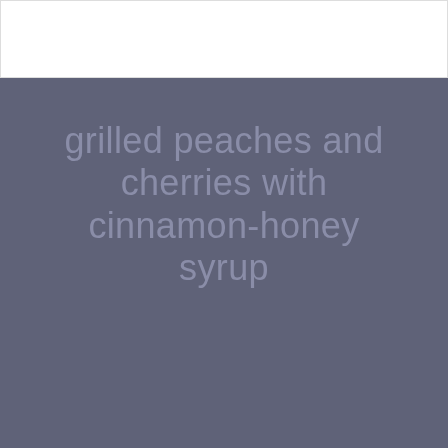[Figure (other): White rectangle at top, partial recipe card header area]
grilled peaches and cherries with cinnamon-honey syrup
★ ★ ★ ★ ★
4.8 from 4 reviews
Author: Brandie Valenzuela
[Figure (illustration): Bottom section with geometric hexagon pattern in gray tones]